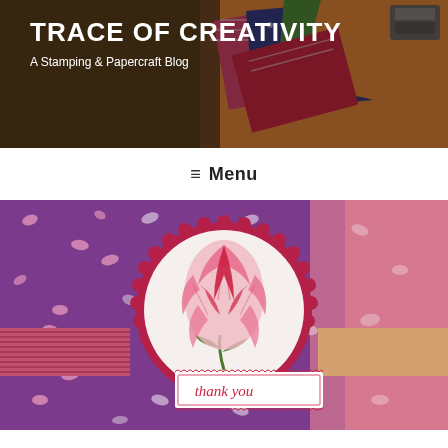[Figure (photo): Blog header banner showing colorful patterned paper and craft supplies on a wooden surface, with a dark overlay]
TRACE OF CREATIVITY
A Stamping & Papercraft Blog
≡ Menu
[Figure (photo): Handmade thank you card featuring a stamped pink and red flower on a white circular scalloped frame, set against purple patterned paper with pink splotches. A 'thank you' sentiment tag is attached at the bottom.]